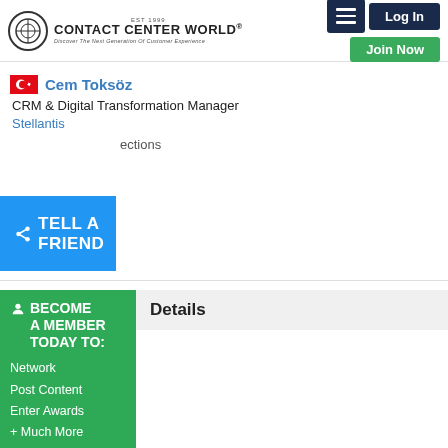Contact Center World | Log In | Join Now
Cem Toksöz
CRM & Digital Transformation Manager
Stellantis
ections
TELL A FRIEND
Details
BECOME A MEMBER TODAY TO:
Network
Post Content
Enter Awards
+ Much More